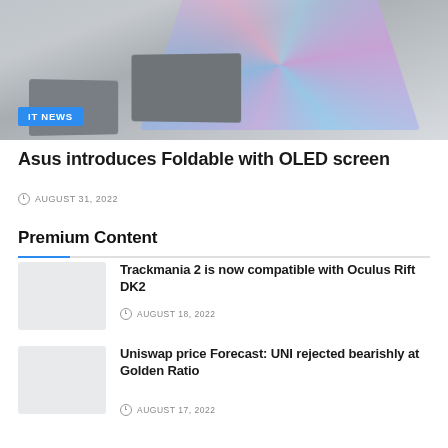[Figure (photo): Hero image showing multiple foldable OLED devices (laptops, tablets) with colorful iridescent screens arranged on a gray surface. IT NEWS badge overlay at bottom left.]
Asus introduces Foldable with OLED screen
AUGUST 31, 2022
Premium Content
[Figure (photo): Thumbnail placeholder image for Trackmania 2 article]
Trackmania 2 is now compatible with Oculus Rift DK2
AUGUST 18, 2022
[Figure (photo): Thumbnail placeholder image for Uniswap article]
Uniswap price Forecast: UNI rejected bearishly at Golden Ratio
AUGUST 17, 2022